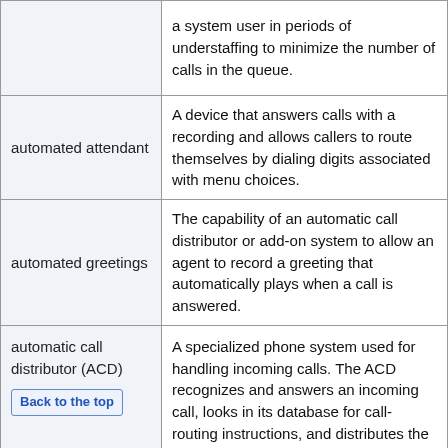| Term | Definition |
| --- | --- |
|  | a system user in periods of understaffing to minimize the number of calls in the queue. |
| automated attendant | A device that answers calls with a recording and allows callers to route themselves by dialing digits associated with menu choices. |
| automated greetings | The capability of an automatic call distributor or add-on system to allow an agent to record a greeting that automatically plays when a call is answered. |
| automatic call distributor (ACD) | A specialized phone system used for handling incoming calls. The ACD recognizes and answers an incoming call, looks in its database for call-routing instructions, and distributes the call as appropriate. An important role of the ACD is to produce management information by tracking both calls and agent performance. |
|  |  |